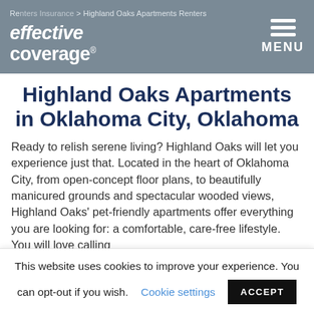Renters Insurance > Highland Oaks Apartments Renters | effective coverage [logo] MENU
Highland Oaks Apartments in Oklahoma City, Oklahoma
Ready to relish serene living? Highland Oaks will let you experience just that. Located in the heart of Oklahoma City, from open-concept floor plans, to beautifully manicured grounds and spectacular wooded views, Highland Oaks' pet-friendly apartments offer everything you are looking for: a comfortable, care-free lifestyle. You will love calling
This website uses cookies to improve your experience. You can opt-out if you wish.   Cookie settings   ACCEPT